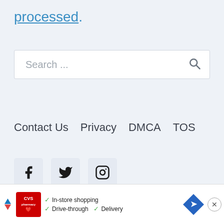processed.
Search ...
Contact Us  Privacy  DMCA  TOS
[Figure (screenshot): Social media icon buttons: Facebook, Twitter, Instagram]
[Figure (screenshot): CVS Pharmacy advertisement banner with checkmarks for In-store shopping, Drive-through, and Delivery]